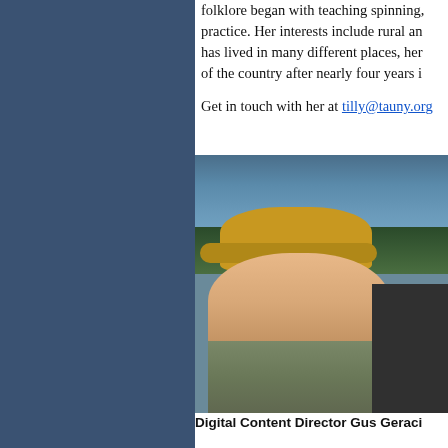folklore began with teaching spinning, practice. Her interests include rural an has lived in many different places, her of the country after nearly four years i

Get in touch with her at tilly@tauny.or
[Figure (photo): A young man wearing a yellow Bend Brewing cap and olive/khaki jacket, smiling, standing outdoors with a lake and trees in the background. A second person is partially visible on the right.]
Digital Content Director Gus Geraci